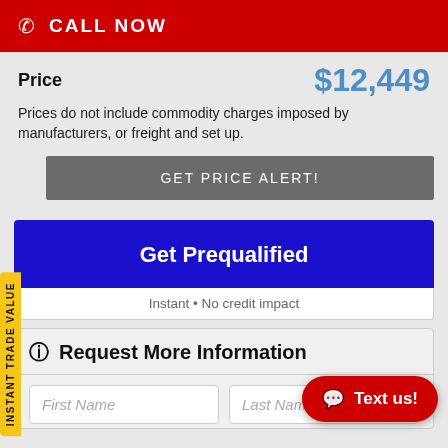CALL NOW
Price   $12,449
Prices do not include commodity charges imposed by manufacturers, or freight and set up.
GET PRICE ALERT!
Get Prequalified
Instant • No credit impact
Request More Information
First Name
Last Name
INSTANT TRADE VALUE
Text us!